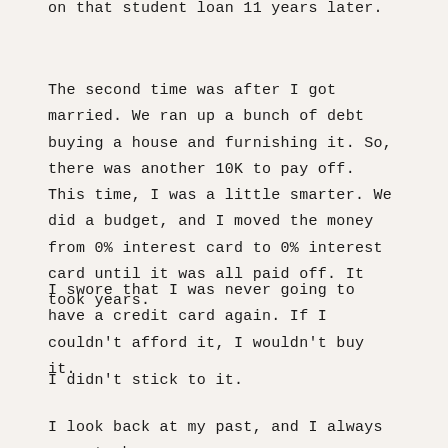on that student loan 11 years later.
The second time was after I got married. We ran up a bunch of debt buying a house and furnishing it. So, there was another 10K to pay off. This time, I was a little smarter. We did a budget, and I moved the money from 0% interest card to 0% interest card until it was all paid off. It took years.
I swore that I was never going to have a credit card again. If I couldn't afford it, I wouldn't buy it.
I didn't stick to it.
I look back at my past, and I always seem to be